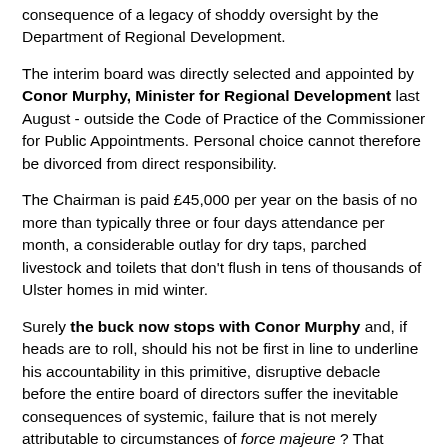consequence of a legacy of shoddy oversight by the Department of Regional Development.
The interim board was directly selected and appointed by Conor Murphy, Minister for Regional Development last August - outside the Code of Practice of the Commissioner for Public Appointments. Personal choice cannot therefore be divorced from direct responsibility.
The Chairman is paid £45,000 per year on the basis of no more than typically three or four days attendance per month, a considerable outlay for dry taps, parched livestock and toilets that don't flush in tens of thousands of Ulster homes in mid winter.
Surely the buck now stops with Conor Murphy and, if heads are to roll, should his not be first in line to underline his accountability in this primitive, disruptive debacle before the entire board of directors suffer the inevitable consequences of systemic, failure that is not merely attributable to circumstances of force majeure ? That gesture would be the essence of accountability and good governance at the highest level and it would emphasise the